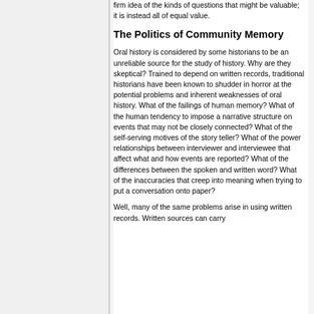firm idea of the kinds of questions that might be valuable; it is instead all of equal value.
The Politics of Community Memory
Oral history is considered by some historians to be an unreliable source for the study of history. Why are they skeptical? Trained to depend on written records, traditional historians have been known to shudder in horror at the potential problems and inherent weaknesses of oral history. What of the failings of human memory? What of the human tendency to impose a narrative structure on events that may not be closely connected? What of the self-serving motives of the story teller? What of the power relationships between interviewer and interviewee that affect what and how events are reported? What of the differences between the spoken and written word? What of the inaccuracies that creep into meaning when trying to put a conversation onto paper?
Well, many of the same problems arise in using written records. Written sources can carry